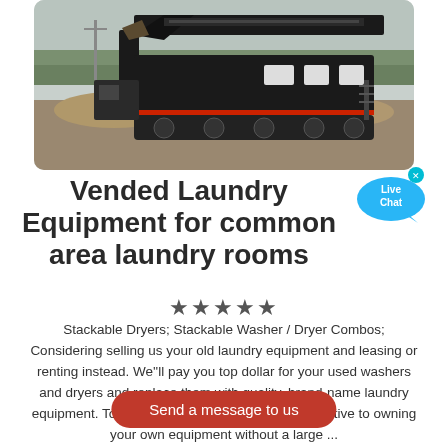[Figure (photo): Heavy industrial machinery (mobile crushing/screening equipment on a truck) at an outdoor site with rubble and trees in the background.]
Vended Laundry Equipment for common area laundry rooms
★★★★★
Stackable Dryers; Stackable Washer / Dryer Combos; Considering selling us your old laundry equipment and leasing or renting instead. We''ll pay you top dollar for your used washers and dryers and replace them with quality, brand-name laundry equipment. To sum up, this is an affordable alternative to owning your own equipment without a large ...
Send a message to us